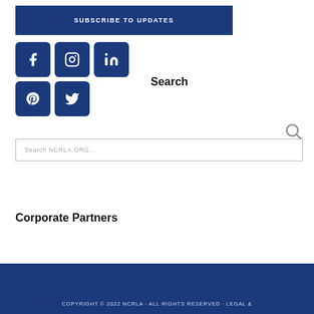SUBSCRIBE TO UPDATES
[Figure (other): Social media icon buttons: Facebook, Instagram, LinkedIn (top row), Pinterest, Twitter (bottom row)]
Search
Search NCRLA.ORG...
Corporate Partners
COPYRIGHT © 2022 NCRLA · ALL RIGHTS RESERVED · LEGAL &